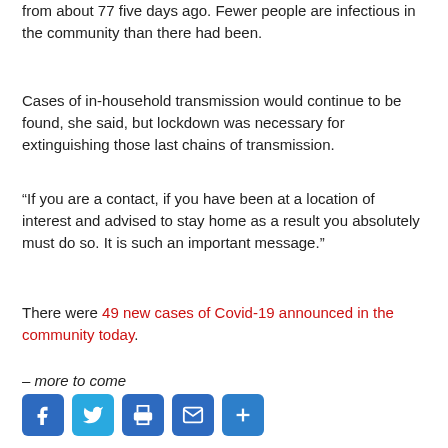from about 77 five days ago. Fewer people are infectious in the community than there had been.
Cases of in-household transmission would continue to be found, she said, but lockdown was necessary for extinguishing those last chains of transmission.
“If you are a contact, if you have been at a location of interest and advised to stay home as a result you absolutely must do so. It is such an important message.”
There were 49 new cases of Covid-19 announced in the community today.
– more to come
[Figure (other): Social share buttons: Facebook, Twitter, Print, Email, More]